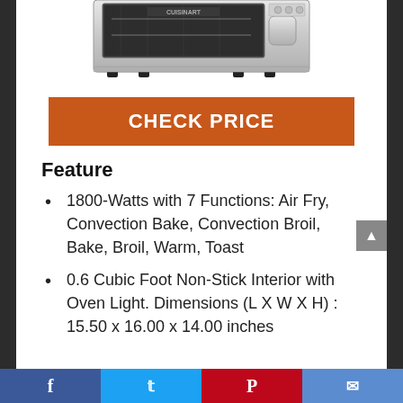[Figure (photo): Partial photo of a Cuisinart toaster oven / air fryer, stainless steel, viewed from slightly above, cropped at the top of the page.]
CHECK PRICE
Feature
1800-Watts with 7 Functions: Air Fry, Convection Bake, Convection Broil, Bake, Broil, Warm, Toast
0.6 Cubic Foot Non-Stick Interior with Oven Light. Dimensions (L X W X H) : 15.50 x 16.00 x 14.00 inches
Facebook | Twitter | Pinterest | Email